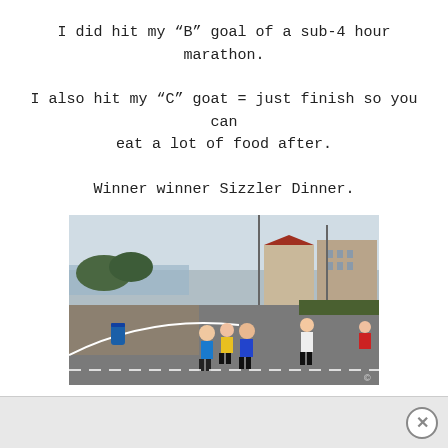I did hit my “B” goal of a sub-4 hour marathon.
I also hit my “C” goat = just finish so you can eat a lot of food after.
Winner winner Sizzler Dinner.
[Figure (photo): Marathon runners on a coastal road in a neighborhood, with trees and residential buildings in the background. Runners are wearing race bibs and athletic gear.]